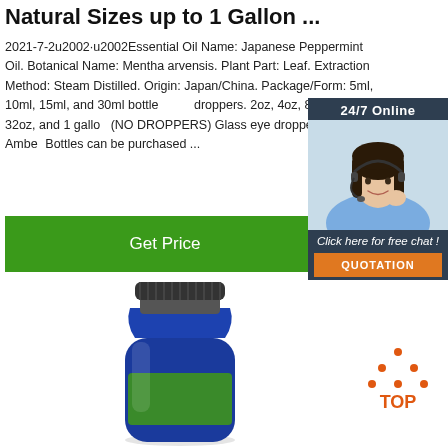Natural Sizes up to 1 Gallon ...
2021-7-2u2002·u2002Essential Oil Name: Japanese Peppermint Oil. Botanical Name: Mentha arvensis. Plant Part: Leaf. Extraction Method: Steam Distilled. Origin: Japan/China. Package/Form: 5ml, 10ml, 15ml, and 30ml bottles with droppers. 2oz, 4oz, 8oz, 16oz, 32oz, and 1 gallon (NO DROPPERS) Glass eye droppers for Amber Bottles can be purchased ...
[Figure (other): Green 'Get Price' button]
[Figure (other): 24/7 Online customer support chat widget with a woman wearing a headset, 'Click here for free chat!' text, and an orange QUOTATION button]
[Figure (photo): Blue glass bottle with black cap containing essential oil, with a green label]
[Figure (other): Orange and dark 'TOP' back-to-top icon with dots forming a triangle shape above the text]